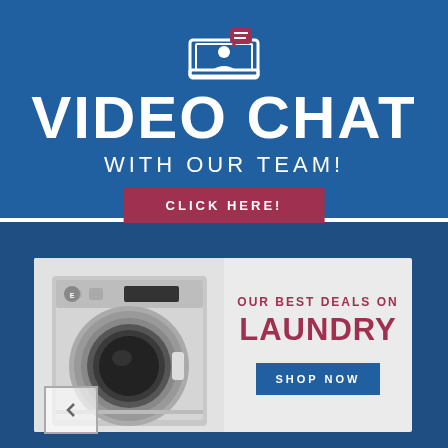[Figure (illustration): Blue banner with laptop/video chat icon at top, showing a person with a speech bubble, on a blue background]
VIDEO CHAT
WITH OUR TEAM!
CLICK HERE!
[Figure (photo): Electrolux front-load washer, stainless steel, compact commercial model]
OUR BEST DEALS ON LAUNDRY
SHOP NOW